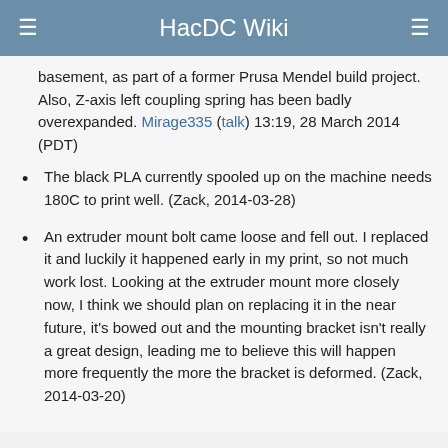HacDC Wiki
basement, as part of a former Prusa Mendel build project. Also, Z-axis left coupling spring has been badly overexpanded. Mirage335 (talk) 13:19, 28 March 2014 (PDT)
The black PLA currently spooled up on the machine needs 180C to print well. (Zack, 2014-03-28)
An extruder mount bolt came loose and fell out. I replaced it and luckily it happened early in my print, so not much work lost. Looking at the extruder mount more closely now, I think we should plan on replacing it in the near future, it's bowed out and the mounting bracket isn't really a great design, leading me to believe this will happen more frequently the more the bracket is deformed. (Zack, 2014-03-20)